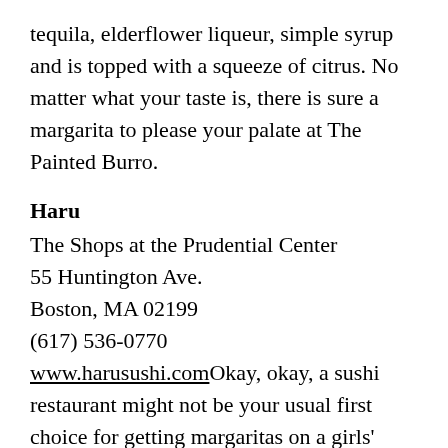tequila, elderflower liqueur, simple syrup and is topped with a squeeze of citrus. No matter what your taste is, there is sure a margarita to please your palate at The Painted Burro.
Haru
The Shops at the Prudential Center
55 Huntington Ave.
Boston, MA 02199
(617) 536-0770
www.harusushi.comOkay, okay, a sushi restaurant might not be your usual first choice for getting margaritas on a girls' night out, but Haru is changing all that. This Back Bay restaurant gives the traditional margarita a little Japanese flare. Their Green Tea Margarita is something you won't find anywhere else. It features Patrón silver tequila,